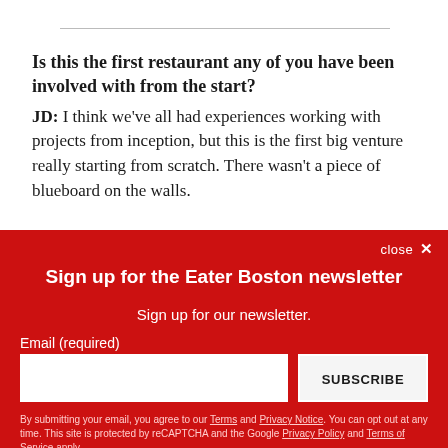Is this the first restaurant any of you have been involved with from the start?
JD: I think we've all had experiences working with projects from inception, but this is the first big venture really starting from scratch. There wasn't a piece of blueboard on the walls.
close ×
Sign up for the Eater Boston newsletter
Sign up for our newsletter.
Email (required)
SUBSCRIBE
By submitting your email, you agree to our Terms and Privacy Notice. You can opt out at any time. This site is protected by reCAPTCHA and the Google Privacy Policy and Terms of Service apply.